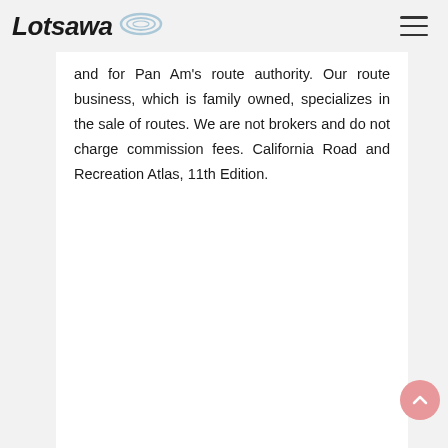Lotsawa [logo]
and for Pan Am's route authority. Our route business, which is family owned, specializes in the sale of routes. We are not brokers and do not charge commission fees. California Road and Recreation Atlas, 11th Edition.